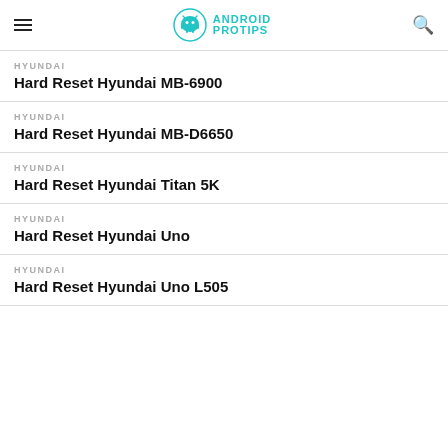ANDROID PROTIPS
HYUNDAI
Hard Reset Hyundai MB-6900
HYUNDAI
Hard Reset Hyundai MB-D6650
HYUNDAI
Hard Reset Hyundai Titan 5K
HYUNDAI
Hard Reset Hyundai Uno
HYUNDAI
Hard Reset Hyundai Uno L505